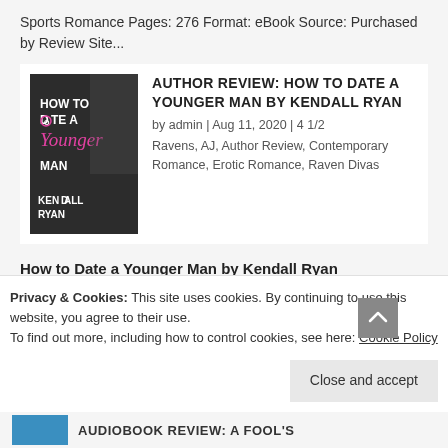Sports Romance Pages: 276 Format: eBook Source: Purchased by Review Site...
AUTHOR REVIEW: HOW TO DATE A YOUNGER MAN BY KENDALL RYAN
by admin | Aug 11, 2020 | 4 1/2
Ravens, AJ, Author Review, Contemporary Romance, Erotic Romance, Raven Divas
How to Date a Younger Man by Kendall Ryan
Published by Kendall Ryan on July 21, 2020 Genres:
Privacy & Cookies: This site uses cookies. By continuing to use this website, you agree to their use.
To find out more, including how to control cookies, see here: Cookie Policy
Close and accept
AUDIOBOOK REVIEW: A FOOL'S